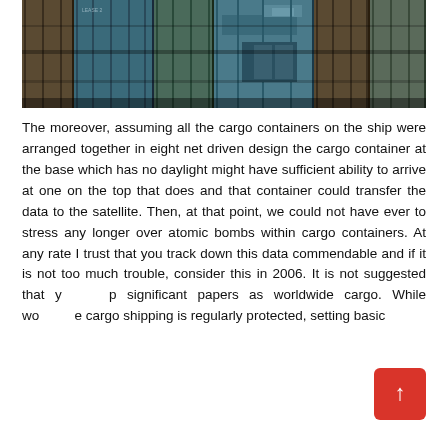[Figure (photo): Photo of stacked rusty cargo shipping containers, showing weathered metal surfaces in blues, browns and greens]
The moreover, assuming all the cargo containers on the ship were arranged together in eight net driven design the cargo container at the base which has no daylight might have sufficient ability to arrive at one on the top that does and that container could transfer the data to the satellite. Then, at that point, we could not have ever to stress any longer over atomic bombs within cargo containers. At any rate I trust that you track down this data commendable and if it is not too much trouble, consider this in 2006. It is not suggested that you keep significant papers as worldwide cargo. While worldwide cargo shipping is regularly protected, setting basic